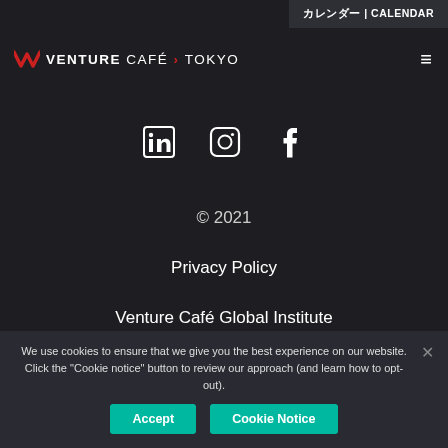カレンダー | CALENDAR
VENTURE CAFÉ > TOKYO
[Figure (other): Social media icons: LinkedIn, Instagram, Facebook]
© 2021
Privacy Policy
Venture Café Global Institute
We use cookies to ensure that we give you the best experience on our website. Click the "Cookie notice" button to review our approach (and learn how to opt-out).
Accept   Cookie Notice